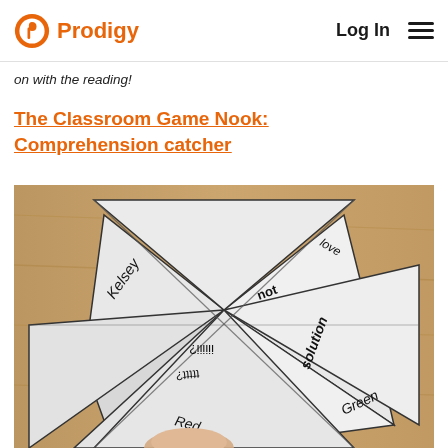Prodigy | Log In
on with the reading!
The Classroom Game Nook: Comprehension catcher
[Figure (photo): A hand holding a paper fortune teller / cootie catcher with words written on its triangular flaps including 'Kelsey', 'solution', 'Green', 'Red', and other upside-down text]